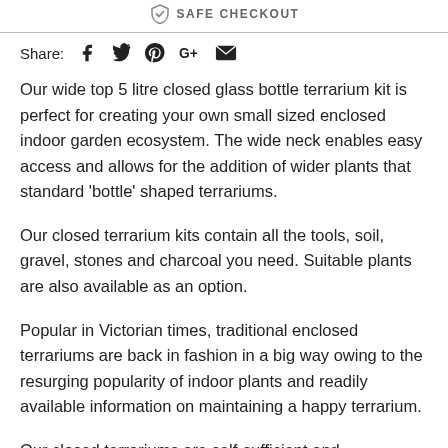[Figure (other): Safe checkout badge with shield icon and text SAFE CHECKOUT]
Share: [Facebook] [Twitter] [Pinterest] [Google+] [Email]
Our wide top 5 litre closed glass bottle terrarium kit is perfect for creating your own small sized enclosed indoor garden ecosystem. The wide neck enables easy access and allows for the addition of wider plants that standard 'bottle' shaped terrariums.
Our closed terrarium kits contain all the tools, soil, gravel, stones and charcoal you need. Suitable plants are also available as an option.
Popular in Victorian times, traditional enclosed terrariums are back in fashion in a big way owing to the resurging popularity of indoor plants and readily available information on maintaining a happy terrarium.
Our closed terrariums are self-sufficient and maintenance